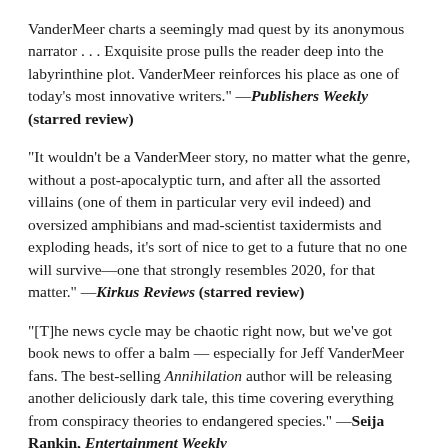VanderMeer charts a seemingly mad quest by its anonymous narrator . . . Exquisite prose pulls the reader deep into the labyrinthine plot. VanderMeer reinforces his place as one of today's most innovative writers." —Publishers Weekly (starred review)
"It wouldn't be a VanderMeer story, no matter what the genre, without a post-apocalyptic turn, and after all the assorted villains (one of them in particular very evil indeed) and oversized amphibians and mad-scientist taxidermists and exploding heads, it's sort of nice to get to a future that no one will survive—one that strongly resembles 2020, for that matter." —Kirkus Reviews (starred review)
"[T]he news cycle may be chaotic right now, but we've got book news to offer a balm — especially for Jeff VanderMeer fans. The best-selling Annihilation author will be releasing another deliciously dark tale, this time covering everything from conspiracy theories to endangered species." —Seija Rankin, Entertainment Weekly
"Hummingbird Salamander is harrowing, gripping, and profound. It's both a thriller and a requiem for a disappearing world. I expect this novel will haunt me for a long time." —Emily St. John Mandel, author of Station Eleven